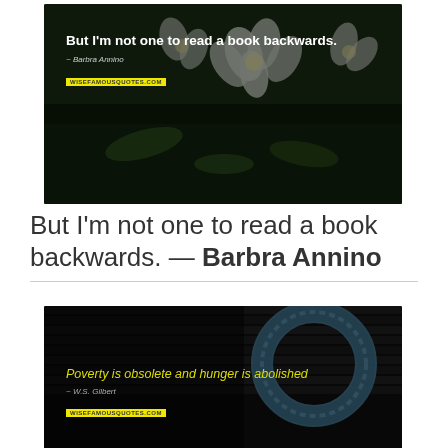[Figure (photo): Dark photo of white flowers with overlaid quote text: 'But I'm not one to read a book backwards.' attributed to Barbra Annino, with wisefamousquotes.com watermark]
But I'm not one to read a book backwards. — Barbra Annino
[Figure (photo): Dark photo with a rope/bracelet object and overlaid quote text in yellow: 'Poverty is obsolete and hunger is abolished' attributed to W.S. Gilbert, with wisefamousquotes.com watermark]